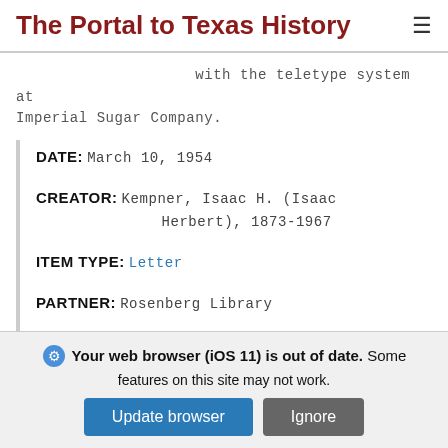The Portal to Texas History
with the teletype system at Imperial Sugar Company.
| DATE: | March 10, 1954 |
| CREATOR: | Kempner, Isaac H. (Isaac Herbert), 1873-1967 |
| ITEM TYPE: | Letter |
| PARTNER: | Rosenberg Library |
The Portal to Texas History
Your web browser (iOS 11) is out of date. Some features on this site may not work.